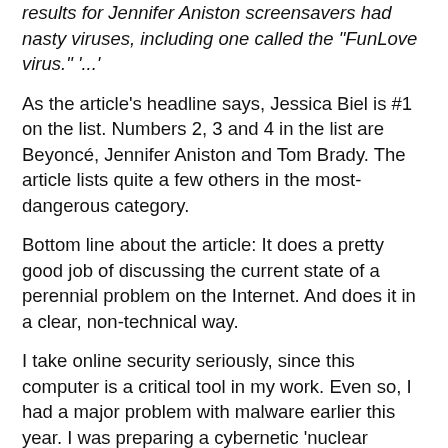results for Jennifer Aniston screensavers had nasty viruses, including one called the "FunLove virus." '...'
As the article's headline says, Jessica Biel is #1 on the list. Numbers 2, 3 and 4 in the list are Beyoncé, Jennifer Aniston and Tom Brady. The article lists quite a few others in the most-dangerous category.
Bottom line about the article: It does a pretty good job of discussing the current state of a perennial problem on the Internet. And does it in a clear, non-technical way.
I take online security seriously, since this computer is a critical tool in my work. Even so, I had a major problem with malware earlier this year. I was preparing a cybernetic 'nuclear option' when my oldest daughter and son - 26 and 13 years old, and both tech-savvy - rooted out the last of the malware. (April 13, 2009)
I've changed some of my online habits since then - and pay much closer attention whether or not a site I'm visiting is legitimate. The "whois" service offered free by quite a few